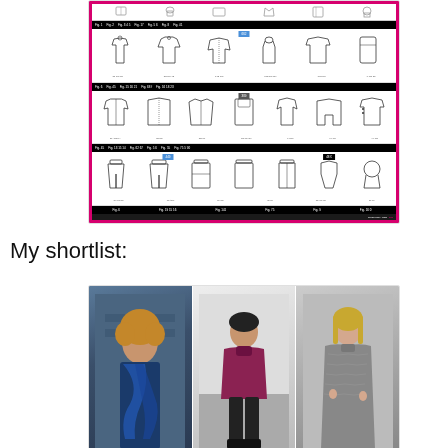[Figure (screenshot): A fashion catalog page showing clothing pattern sketches organized in rows with black header bars containing article numbers. The catalog has a magenta/pink border and shows tops, jackets, pants and other garments in technical sketch style.]
My shortlist:
[Figure (photo): Three fashion photos side by side: left shows a woman with curly hair wearing a patterned scarf in a dark blue setting, center shows a person in a dark red/burgundy sweater seated, right shows a woman in a grey patterned dress.]